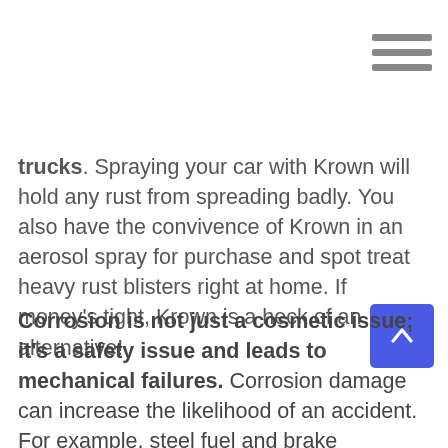trucks. Spraying your car with Krown will hold any rust from spreading badly. You also have the convivence of Krown in an aerosol spray for purchase and spot treat heavy rust blisters right at home. If money's tight, Krown is a heck of an alternative!
Corrosion is not just a cosmetic issue; it's a safety issue and leads to mechanical failures. Corrosion damage can increase the likelihood of an accident. For example, steel fuel and brake